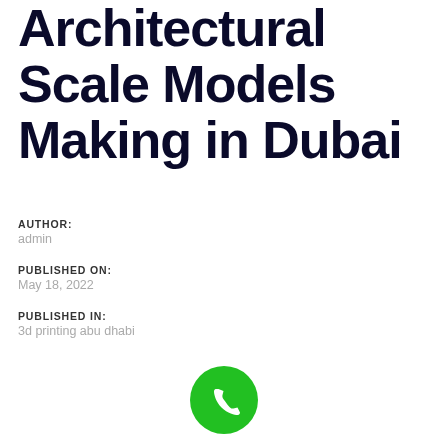Architectural Scale Models Making in Dubai
AUTHOR:
admin
PUBLISHED ON:
May 18, 2022
PUBLISHED IN:
3d printing abu dhabi
[Figure (illustration): Green circular phone/call button icon]